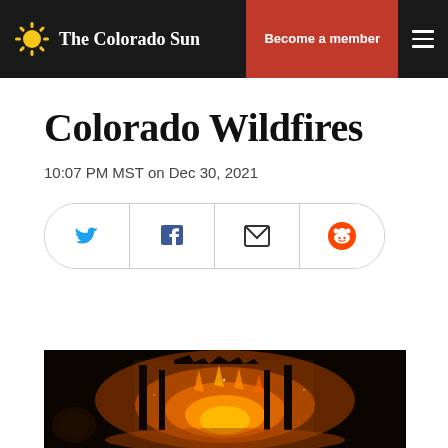The Colorado Sun | Become a member
Colorado Wildfires
10:07 PM MST on Dec 30, 2021
[Figure (other): Social share buttons: Twitter, Facebook, Email, Reddit]
[Figure (photo): Night photo of a building engulfed in flames with glowing orange fire against a dark sky]